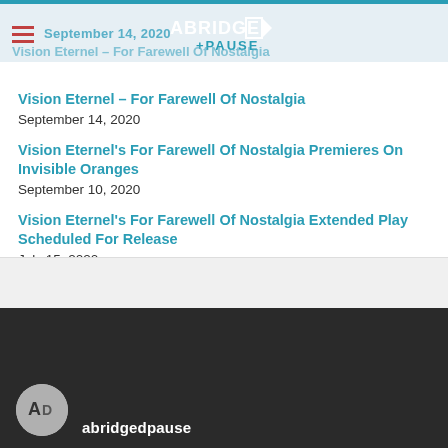September 14, 2020 — Abridged Pause
Vision Eternel – For Farewell Of Nostalgia (overlay title)
Vision Eternel's For Farewell Of Nostalgia Premieres On Invisible Oranges
September 14, 2020
Vision Eternel's For Farewell Of Nostalgia Premieres On Invisible Oranges
September 10, 2020
Vision Eternel's For Farewell Of Nostalgia Extended Play Scheduled For Release
July 15, 2020
New Vision Eternel Merchandise Available
January 1, 2020
abridgedpause